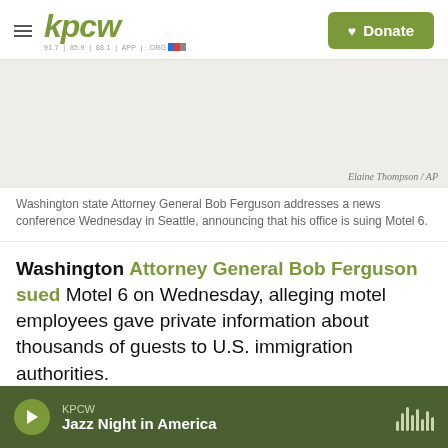kpcw | Donate
[Figure (photo): Washington state Attorney General Bob Ferguson at a news conference in Seattle]
Elaine Thompson / AP
Washington state Attorney General Bob Ferguson addresses a news conference Wednesday in Seattle, announcing that his office is suing Motel 6.
Washington Attorney General Bob Ferguson sued Motel 6 on Wednesday, alleging motel employees gave private information about thousands of guests to U.S. immigration authorities.
KPCW Jazz Night in America